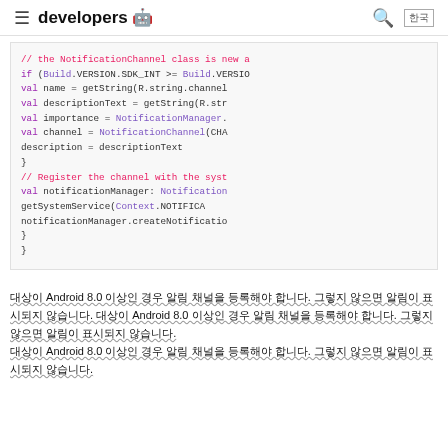≡ developers 🤖 🔍 한국
[Figure (screenshot): Android developer documentation code snippet showing Kotlin code for creating a NotificationChannel with Build.VERSION check, val name, descriptionText, importance, channel, and notificationManager.createNotification call]
대상이 Android 8.0 이상인 경우 알림 채널을 등록해야 합니다. 그렇지 않으면 알림이 표시되지 않습니다.